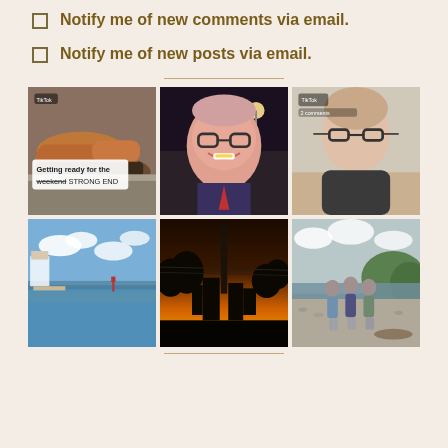Notify me of new comments via email.
Notify me of new posts via email.
[Figure (photo): Grid of 6 social media / personal photos: shoes on pavement with TikTok overlay text 'Getting ready for the weekend STRONG END'; elderly man with glasses against night road background; man portrait selfie with TikTok overlay; calm water landscape with clouds; sunset silhouette of city skyline (Sky Tower); family of three on rocky beach.]